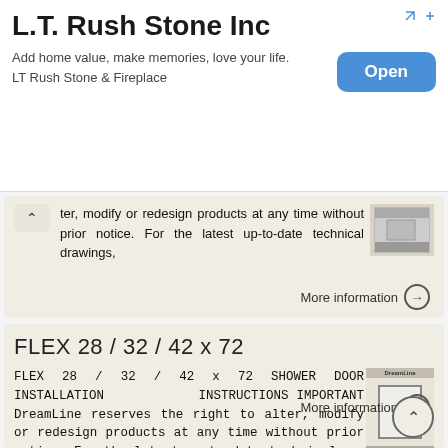[Figure (other): Advertisement banner for L.T. Rush Stone Inc with Open button]
ter, modify or redesign products at any time without prior notice. For the latest up-to-date technical drawings,
More information →
FLEX 28 / 32 / 42 x 72
FLEX 28 / 32 / 42 x 72 SHOWER DOOR INSTALLATION INSTRUCTIONS IMPORTANT DreamLine reserves the right to alter, modify or redesign products at any time without prior notice. For the latest up-to-date technical
More information →